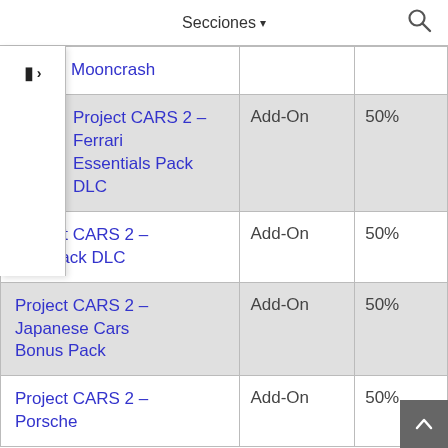Secciones
|  |  |  |
| --- | --- | --- |
| Mooncrash |  |  |
| Project CARS 2 – Ferrari Essentials Pack DLC | Add-On | 50% |
| Project CARS 2 – Fun Pack DLC | Add-On | 50% |
| Project CARS 2 – Japanese Cars Bonus Pack | Add-On | 50% |
| Project CARS 2 – Porsche | Add-On | 50% |